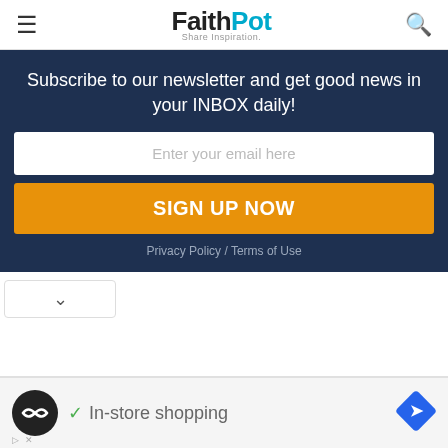FaithPot — Share Inspiration.
Subscribe to our newsletter and get good news in your INBOX daily!
Enter your email here
SIGN UP NOW
Privacy Policy / Terms of Use
[Figure (screenshot): Collapse chevron button]
In-store shopping